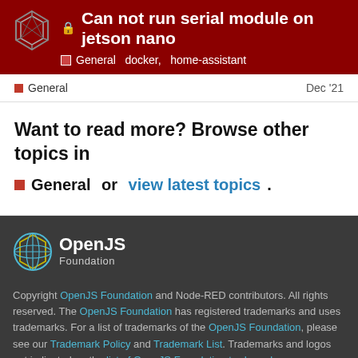Can not run serial module on jetson nano — General docker, home-assistant
General   Dec '21
Want to read more? Browse other topics in
General or view latest topics.
[Figure (logo): OpenJS Foundation logo with geometric sphere icon in blue/yellow and text 'OpenJS Foundation' in white]
Copyright OpenJS Foundation and Node-RED contributors. All rights reserved. The OpenJS Foundation has registered trademarks and uses trademarks. For a list of trademarks of the OpenJS Foundation, please see our Trademark Policy and Trademark List. Trademarks and logos not indicated on the list of OpenJS Foundation trademarks are trademarks™ or registered® trademarks of their respective holders. Use of them does not imply any affiliation with or endorsement by them.